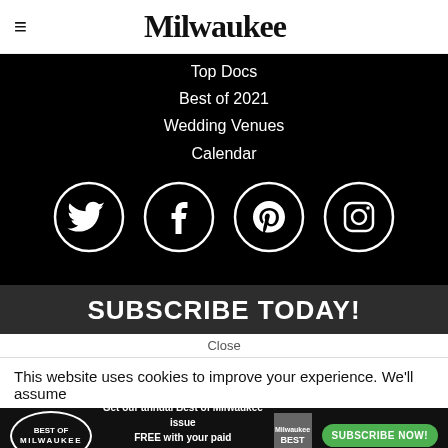Milwaukee
Top Docs
Best of 2021
Wedding Venues
Calendar
[Figure (illustration): Four social media icons (Twitter, Facebook, Pinterest, Instagram) as white icons in white-outlined circles on black background]
SUBSCRIBE TODAY!
Close
This website uses cookies to improve your experience. We'll assume
[Figure (infographic): Best of Milwaukee advertisement banner with badge, copy text 'Get our annual Best of Milwaukee issue FREE with your paid subscription. Offer expires August 31, 2022', magazine cover thumbnail, and green Subscribe Now button]